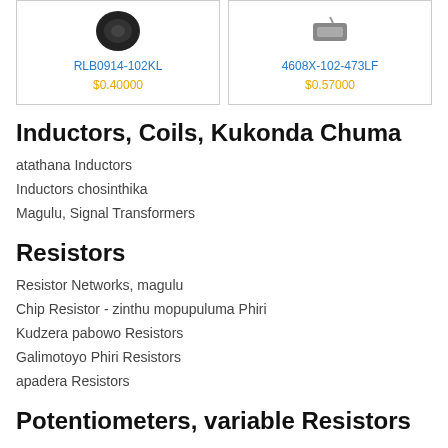[Figure (photo): Product card for RLB0914-102KL inductor component, showing component image, blue product name link, and gold price]
[Figure (photo): Product card for 4608X-102-473LF resistor network component, showing component image, blue product name link, and gold price]
Inductors, Coils, Kukonda Chuma
atathana Inductors
Inductors chosinthika
Magulu, Signal Transformers
Resistors
Resistor Networks, magulu
Chip Resistor - zinthu mopupuluma Phiri
Kudzera pabowo Resistors
Galimotoyo Phiri Resistors
apadera Resistors
Potentiometers, variable Resistors